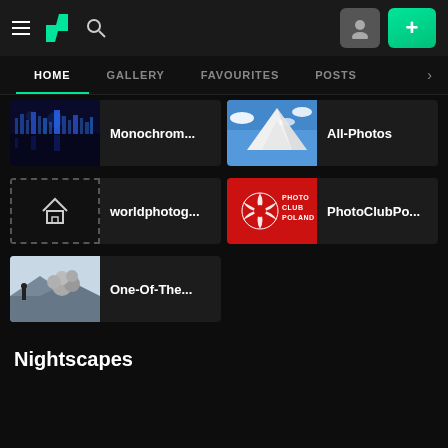[Figure (screenshot): DeviantArt app top navigation bar with hamburger menu, DA logo, search icon, profile button, and green plus button]
[Figure (screenshot): Tab navigation with HOME (active, underlined green), GALLERY, FAVOURITES, POSTS]
[Figure (screenshot): Gallery card: night city reflection thumbnail labeled Monochrom...]
[Figure (screenshot): Gallery card: snowy mountain thumbnail labeled All-Photos]
[Figure (screenshot): Gallery card: placeholder house icon labeled worldphotog...]
[Figure (screenshot): Gallery card: Photo Club Poland red logo labeled PhotoClubPo...]
[Figure (screenshot): Gallery card: photo of person and abstract shapes labeled One-Of-The...]
Nightscapes